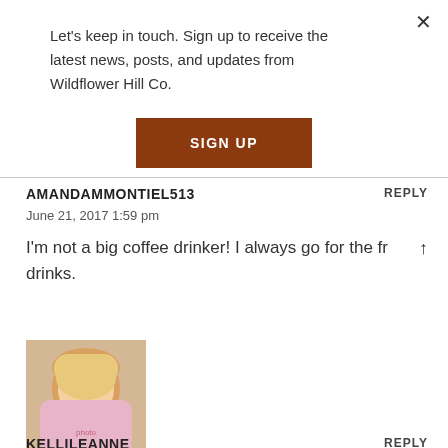Let's keep in touch. Sign up to receive the latest news, posts, and updates from Wildflower Hill Co.
[Figure (other): Brown SIGN UP button]
×
AMANDAMMONTIEL513
REPLY
June 21, 2017 1:59 pm
I'm not a big coffee drinker! I always go for the fr drinks.
[Figure (photo): Profile photo of a blonde woman in pink floral top]
KELLILEANNE
REPLY